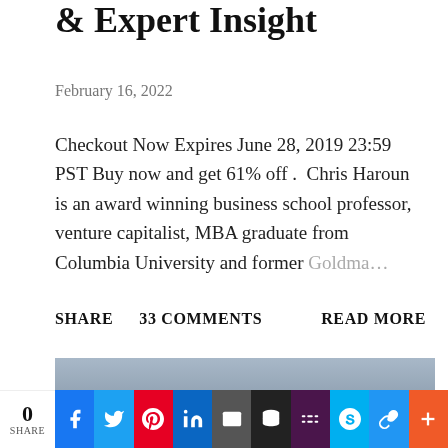& Expert Insight
February 16, 2022
Checkout Now Expires June 28, 2019 23:59 PST Buy now and get 61% off . Chris Haroun is an award winning business school professor, venture capitalist, MBA graduate from Columbia University and former Goldma …
SHARE   33 COMMENTS   READ MORE
[Figure (photo): Partial photo of a drone against a grey-blue sky, shown at the bottom of the article preview]
0 SHARE | Facebook | Twitter | Pinterest | LinkedIn | Email | Buffer | Slack | Skype | Chain | Plus